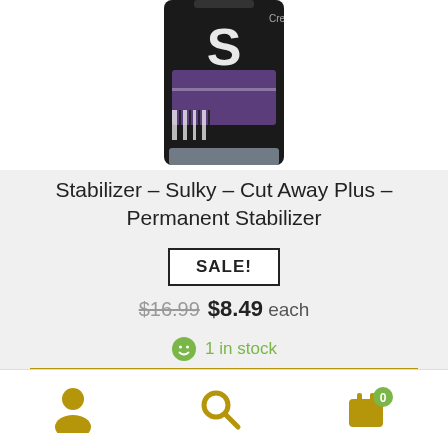[Figure (photo): Product image of Sulky stabilizer bottle, black container with label, partial view showing top portion]
Stabilizer – Sulky – Cut Away Plus – Permanent Stabilizer
SALE!
$16.99  $8.49 each
1 in stock
Add to cart   Quick View
[Figure (screenshot): Bottom navigation bar with user/account icon, search icon, and shopping cart icon with badge showing 0]